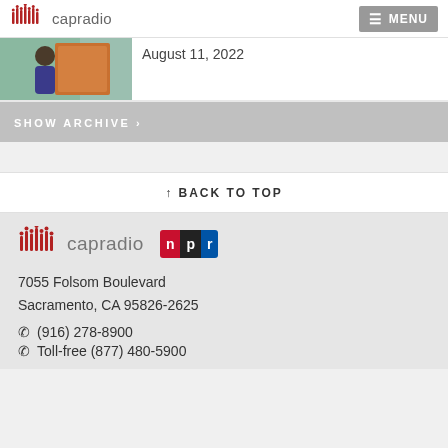capradio | MENU
[Figure (photo): Thumbnail image of a person with an orange instrument or case]
August 11, 2022
SHOW ARCHIVE
↑ BACK TO TOP
[Figure (logo): CapRadio logo with NPR badge]
7055 Folsom Boulevard
Sacramento, CA 95826-2625
(916) 278-8900
Toll-free (877) 480-5900